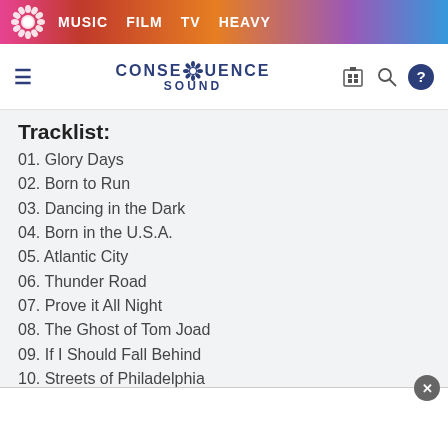MUSIC  FILM  TV  HEAVY
[Figure (logo): Consequence Sound logo with gear icon, hamburger menu, search, and help icons]
Tracklist:
01. Glory Days
02. Born to Run
03. Dancing in the Dark
04. Born in the U.S.A.
05. Atlantic City
06. Thunder Road
07. Prove it All Night
08. The Ghost of Tom Joad
09. If I Should Fall Behind
10. Streets of Philadelphia